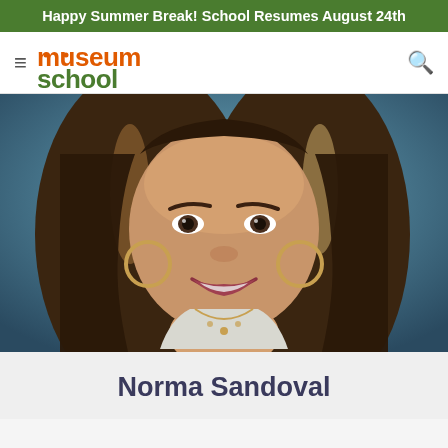Happy Summer Break! School Resumes August 24th
[Figure (logo): Museum School logo with hamburger menu and search icon in navigation bar]
[Figure (photo): Portrait photo of Norma Sandoval, a woman with long dark wavy hair with highlights, smiling, wearing hoop earrings and a necklace, against a blurred blue-grey background]
Norma Sandoval